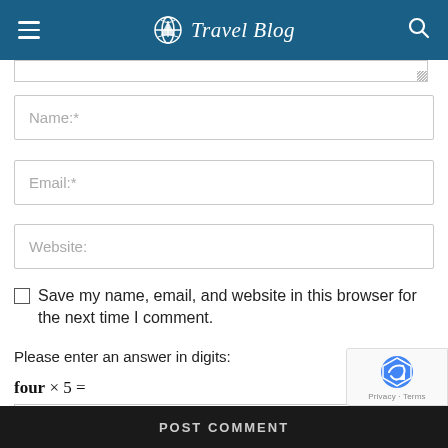Travel Blog
Name:*
Email:*
Website:
Save my name, email, and website in this browser for the next time I comment.
Please enter an answer in digits:
POST COMMENT